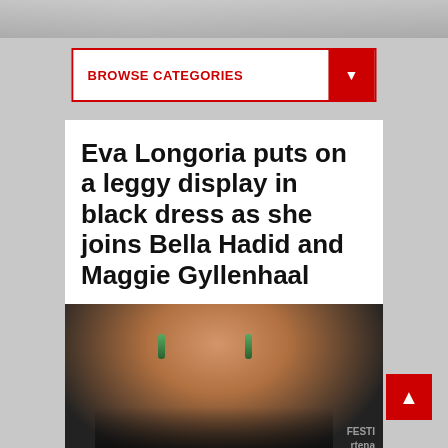[Figure (photo): Top banner photo strip showing a blurred outdoor scene]
BROWSE CATEGORIES ▼
Eva Longoria puts on a leggy display in black dress as she joins Bella Hadid and Maggie Gyllenhaal
[Figure (photo): Photo of a woman wearing a black dress with green earrings at what appears to be the Festival de Cannes (Cannes Film Festival). Text visible: FESTI... rtena...]